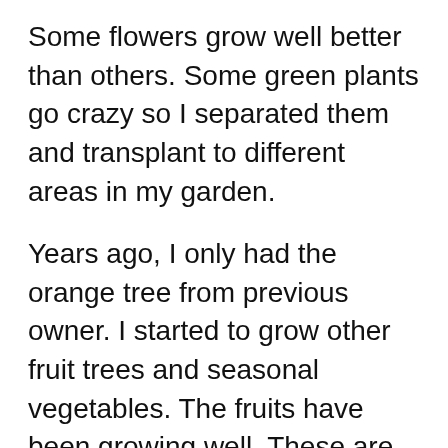Some flowers grow well better than others. Some green plants go crazy so I separated them and transplant to different areas in my garden.
Years ago, I only had the orange tree from previous owner. I started to grow other fruit trees and seasonal vegetables. The fruits have been growing well. These are two crops a years for the oranges. Each crop has three or four hundreds of oranges.
We are having fresh squeezed orange juice every morning.
For the plums, I only got about 30 plums last year. With the right timing of bees to pollinate, I think there'll be a couple hundred this year. I'm so pleased that